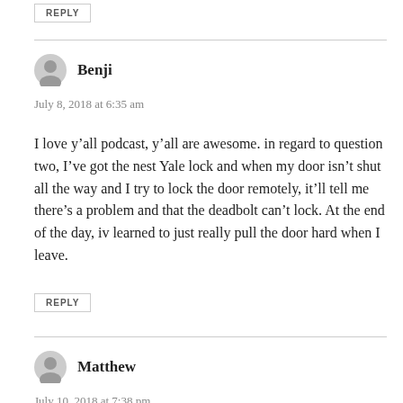REPLY
Benji
July 8, 2018 at 6:35 am
I love y’all podcast, y’all are awesome. in regard to question two, I’ve got the nest Yale lock and when my door isn’t shut all the way and I try to lock the door remotely, it’ll tell me there’s a problem and that the deadbolt can’t lock. At the end of the day, iv learned to just really pull the door hard when I leave.
REPLY
Matthew
July 10, 2018 at 7:38 pm